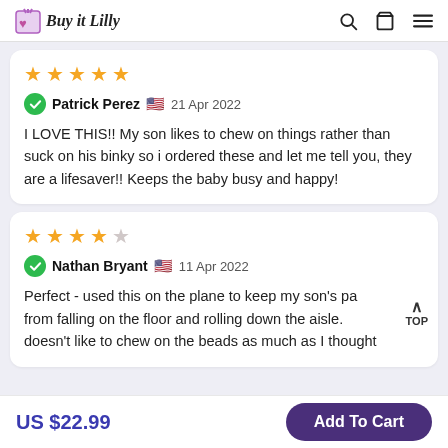Buy it Lilly
★★★★★ Patrick Perez 🇺🇸 21 Apr 2022 — I LOVE THIS!! My son likes to chew on things rather than suck on his binky so i ordered these and let me tell you, they are a lifesaver!! Keeps the baby busy and happy!
★★★★☆ Nathan Bryant 🇺🇸 11 Apr 2022 — Perfect - used this on the plane to keep my son's pa from falling on the floor and rolling down the aisle. doesn't like to chew on the beads as much as I thought
US $22.99 | Add To Cart